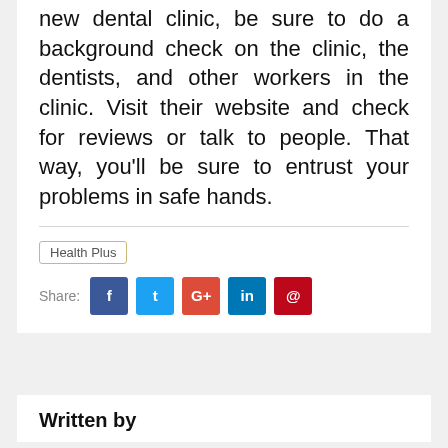new dental clinic, be sure to do a background check on the clinic, the dentists, and other workers in the clinic. Visit their website and check for reviews or talk to people. That way, you'll be sure to entrust your problems in safe hands.
Health Plus
Share:
Written by